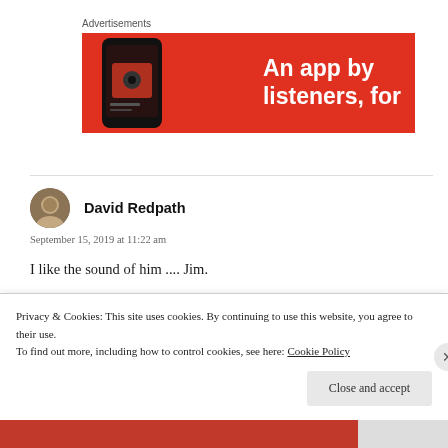Advertisements
[Figure (photo): Red advertisement banner with a smartphone image on the left and white bold text reading 'An app by listeners, for' on the right]
[Figure (photo): Circular avatar photo of David Redpath]
David Redpath
September 15, 2019 at 11:22 am
I like the sound of him .... Jim.
Privacy & Cookies: This site uses cookies. By continuing to use this website, you agree to their use.
To find out more, including how to control cookies, see here: Cookie Policy
Close and accept